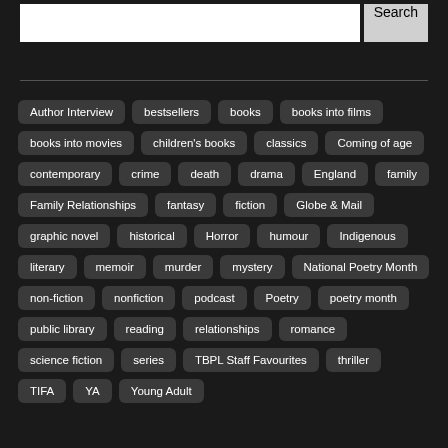[Figure (screenshot): Search bar with text input field and Search button]
Author Interview
bestsellers
books
books into films
books into movies
children's books
classics
Coming of age
contemporary
crime
death
drama
England
family
Family Relationships
fantasy
fiction
Globe & Mail
graphic novel
historical
Horror
humour
Indigenous
literary
memoir
murder
mystery
National Poetry Month
non-fiction
nonfiction
podcast
Poetry
poetry month
public library
reading
relationships
romance
science fiction
series
TBPL Staff Favourites
thriller
TIFA
YA
Young Adult